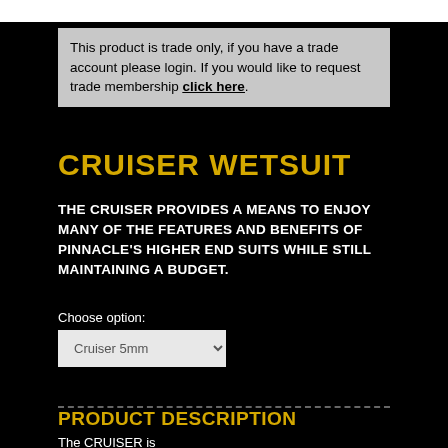[Figure (photo): Product image partial view at top of page (cropped)]
This product is trade only, if you have a trade account please login. If you would like to request trade membership click here.
CRUISER WETSUIT
THE CRUISER PROVIDES A MEANS TO ENJOY MANY OF THE FEATURES AND BENEFITS OF PINNACLE'S HIGHER END SUITS WHILE STILL MAINTAINING A BUDGET.
Choose option:
Cruiser 5mm
PRODUCT DESCRIPTION
The CRUISER is...